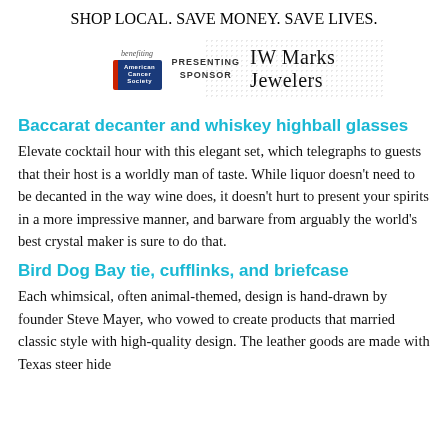SHOP LOCAL. SAVE MONEY. SAVE LIVES.
[Figure (logo): Sponsor block: 'benefiting' text above American Cancer Society badge, 'PRESENTING SPONSOR' text, and IW Marks Jewelers logo, with dotted background pattern]
Baccarat decanter and whiskey highball glasses
Elevate cocktail hour with this elegant set, which telegraphs to guests that their host is a worldly man of taste. While liquor doesn't need to be decanted in the way wine does, it doesn't hurt to present your spirits in a more impressive manner, and barware from arguably the world's best crystal maker is sure to do that.
Bird Dog Bay tie, cufflinks, and briefcase
Each whimsical, often animal-themed, design is hand-drawn by founder Steve Mayer, who vowed to create products that married classic style with high-quality design. The leather goods are made with Texas steer hide